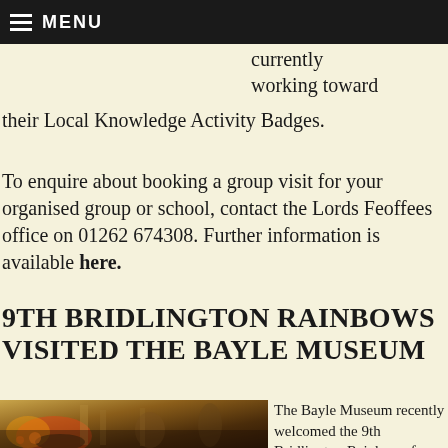MENU
currently working toward their Local Knowledge Activity Badges.
To enquire about booking a group visit for your organised group or school, contact the Lords Feoffees office on 01262 674308. Further information is available here.
9TH BRIDLINGTON RAINBOWS VISITED THE BAYLE MUSEUM
[Figure (photo): Interior of the Bayle Museum showing visitors and museum exhibits]
The Bayle Museum recently welcomed the 9th Bridlington Rainbows for a group tour and a fantastic time was had by all. The Bayle...